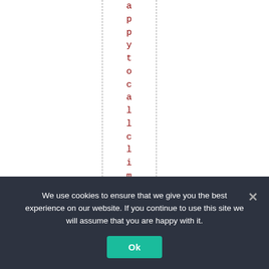[Figure (other): White page background with two vertical dashed lines framing a column of red vertically-arranged letters spelling 'apocalypticlimatecb' (partial word visible), each letter on its own line in dark red monospace font]
We use cookies to ensure that we give you the best experience on our website. If you continue to use this site we will assume that you are happy with it.